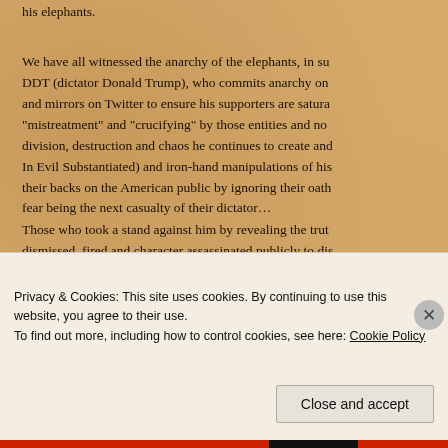his elephants.
We have all witnessed the anarchy of the elephants, in su DDT (dictator Donald Trump), who commits anarchy on and mirrors on Twitter to ensure his supporters are satura “mistreatment” and “crucifying” by those entities and no division, destruction and chaos he continues to create and In Evil Substantiated) and iron-hand manipulations of his their backs on the American public by ignoring their oath fear being the next casualty of their dictator…
Those who took a stand against him by revealing the trut dismissed, fired and character assassinated publicly to dis
It’s no been Trump is the joke of all jokes, set on da
Privacy & Cookies: This site uses cookies. By continuing to use this website, you agree to their use.
To find out more, including how to control cookies, see here: Cookie Policy
Close and accept